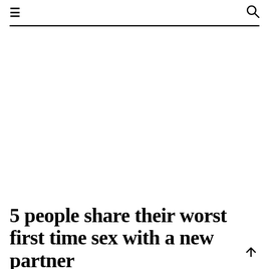≡  🔍
5 people share their worst first time sex with a new partner
First times are not always what it cracked up to be (Picture: Getty)